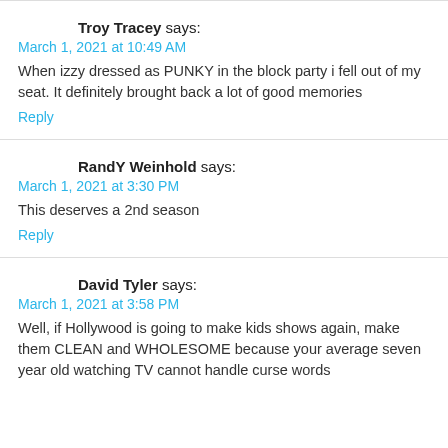Troy Tracey says:
March 1, 2021 at 10:49 AM
When izzy dressed as PUNKY in the block party i fell out of my seat. It definitely brought back a lot of good memories
Reply
RandY Weinhold says:
March 1, 2021 at 3:30 PM
This deserves a 2nd season
Reply
David Tyler says:
March 1, 2021 at 3:58 PM
Well, if Hollywood is going to make kids shows again, make them CLEAN and WHOLESOME because your average seven year old watching TV cannot handle curse words